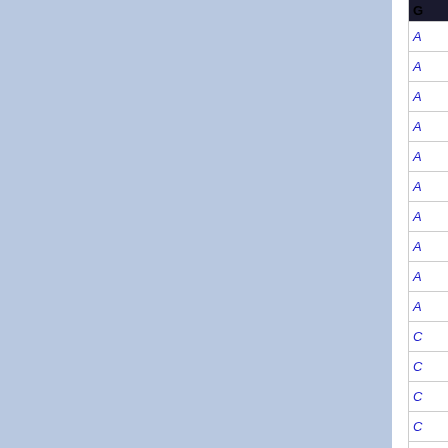[Figure (screenshot): UI screenshot showing a navigation/index panel with a right sidebar containing a header 'G' and a list of italic blue letter entries starting with 'A' (10 rows) followed by 'C' (5 rows), separated by a white vertical divider. The main area is two blue-gray panels separated by a white vertical line.]
G
A
A
A
A
A
A
A
A
A
A
C
C
C
C
C